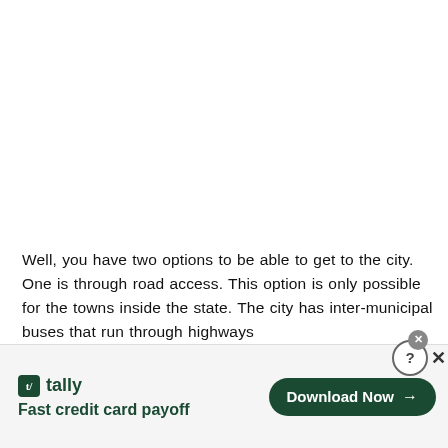Well, you have two options to be able to get to the city. One is through road access. This option is only possible for the towns inside the state. The city has inter-municipal buses that run through highways
[Figure (other): Advertisement banner for Tally app — 'Fast credit card payoff' with a Download Now button, close and help icons in top right corner]